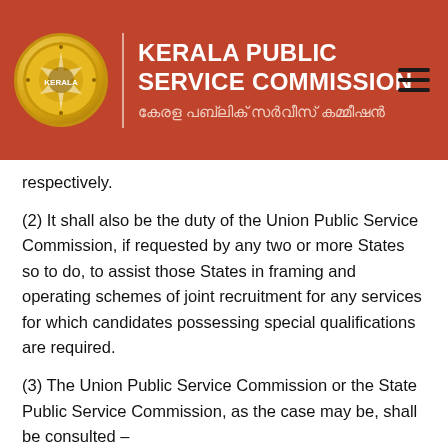KERALA PUBLIC SERVICE COMMISSION
കേരള പബ്ലിക് സർവീസ് കമ്മീഷൻ
respectively.
(2) It shall also be the duty of the Union Public Service Commission, if requested by any two or more States so to do, to assist those States in framing and operating schemes of joint recruitment for any services for which candidates possessing special qualifications are required.
(3) The Union Public Service Commission or the State Public Service Commission, as the case may be, shall be consulted –
(a) on all matters relating to methods of recruitment to civil services and for civil posts.